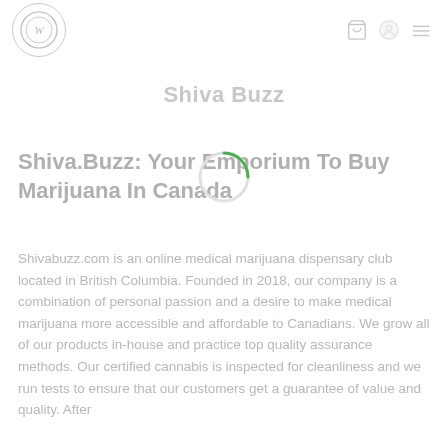Shiva Buzz - navigation header with logo and icons
Shiva Buzz
Shiva.Buzz: Your Emporium To Buy Marijuana In Canada
Shivabuzz.com is an online medical marijuana dispensary club located in British Columbia. Founded in 2018, our company is a combination of personal passion and a desire to make medical marijuana more accessible and affordable to Canadians. We grow all of our products in-house and practice top quality assurance methods. Our certified cannabis is inspected for cleanliness and we run tests to ensure that our customers get a guarantee of value and quality. After